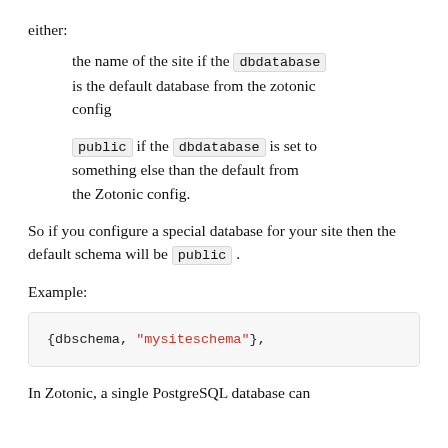either:
the name of the site if the dbdatabase is the default database from the zotonic config
public if the dbdatabase is set to something else than the default from the Zotonic config.
So if you configure a special database for your site then the default schema will be public .
Example:
{dbschema, "mysiteschema"},
In Zotonic, a single PostgreSQL database can